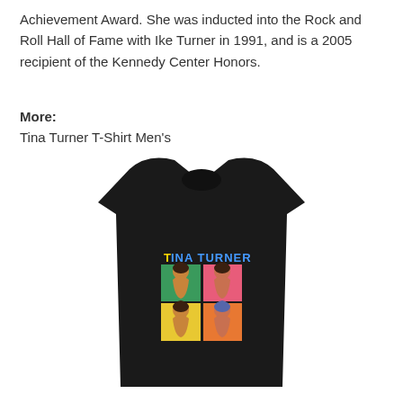Achievement Award. She was inducted into the Rock and Roll Hall of Fame with Ike Turner in 1991, and is a 2005 recipient of the Kennedy Center Honors.
More: Tina Turner T-Shirt Men's
[Figure (photo): A black t-shirt featuring a pop-art style graphic of Tina Turner in four colored panels (green, pink/red, yellow, orange/blue) with the text 'TINA TURNER' above the panels in blue and yellow lettering.]